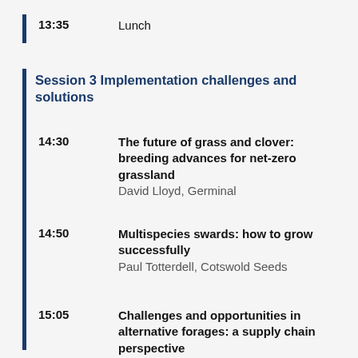13:35  Lunch
Session 3 Implementation challenges and solutions
14:30  The future of grass and clover: breeding advances for net-zero grassland
David Lloyd, Germinal
14:50  Multispecies swards: how to grow successfully
Paul Totterdell, Cotswold Seeds
15:05  Challenges and opportunities in alternative forages: a supply chain perspective